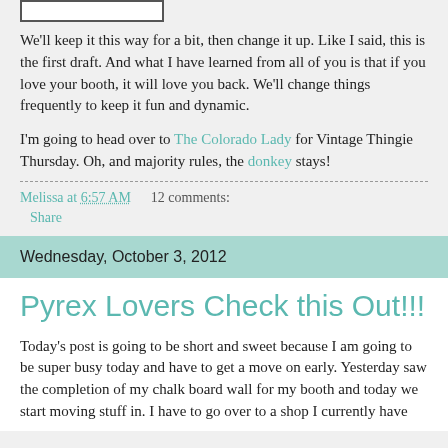[Figure (other): Small rectangular image placeholder/thumbnail at top]
We'll keep it this way for a bit, then change it up.  Like I said, this is the first draft.  And what I have learned from all of you is that if you love your booth, it will love you back.  We'll change things frequently to keep it fun and dynamic.
I'm going to head over to The Colorado Lady for Vintage Thingie Thursday.  Oh, and majority rules, the donkey stays!
Melissa at 6:57 AM    12 comments:
Share
Wednesday, October 3, 2012
Pyrex Lovers Check this Out!!!
Today's post is going to be short and sweet because I am going to be super busy today and have to get a move on early.  Yesterday saw the completion of my chalk board wall for my booth and today we start moving stuff in.  I have to go over to a shop I currently have